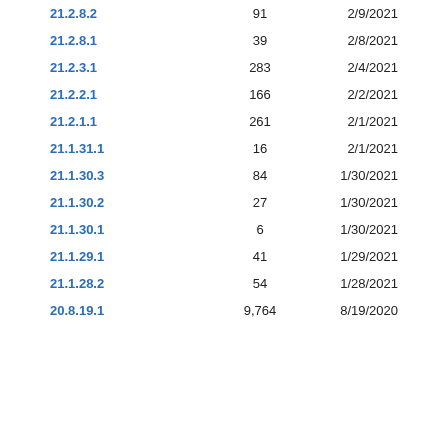| Version | Count | Date |
| --- | --- | --- |
| 21.2.8.2 | 91 | 2/9/2021 |
| 21.2.8.1 | 39 | 2/8/2021 |
| 21.2.3.1 | 283 | 2/4/2021 |
| 21.2.2.1 | 166 | 2/2/2021 |
| 21.2.1.1 | 261 | 2/1/2021 |
| 21.1.31.1 | 16 | 2/1/2021 |
| 21.1.30.3 | 84 | 1/30/2021 |
| 21.1.30.2 | 27 | 1/30/2021 |
| 21.1.30.1 | 6 | 1/30/2021 |
| 21.1.29.1 | 41 | 1/29/2021 |
| 21.1.28.2 | 54 | 1/28/2021 |
| 20.8.19.1 | 9,764 | 8/19/2020 |